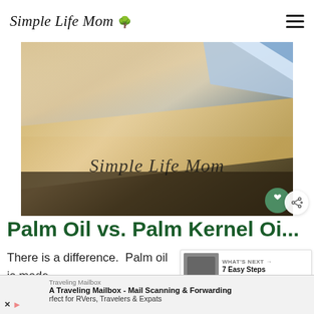Simple Life Mom
[Figure (photo): Close-up photo of palm oil products on a wooden surface with 'Simple Life Mom' watermark text overlaid]
Palm Oil vs. Palm Kernel Oi...
There is a difference.  Palm oil is made... palm fruit, while palm kernel oil is (as the name...
WHAT'S NEXT → 7 Easy Steps to Homemad...
Traveling Mailbox
A Traveling Mailbox - Mail Scanning & Forwarding
rfect for RVers, Travelers & Expats